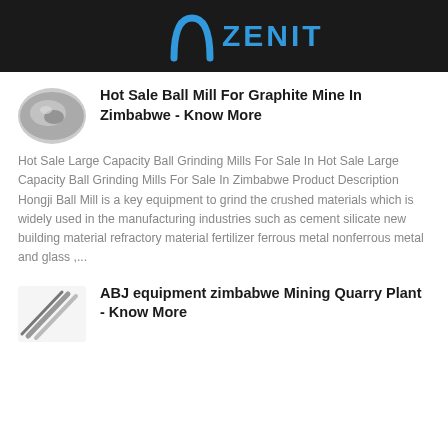ZENIT
[Figure (logo): Thumbnail image of a ball mill component, circular metallic part]
Hot Sale Ball Mill For Graphite Mine In Zimbabwe - Know More
Hot Sale Large Capacity Ball Grinding Mills For Sale In Hot Sale Large Capacity Ball Grinding Mills For Sale In Zimbabwe Product Description Hongji Ball Mill is a key equipment to grind the crushed materials which is widely used in the manufacturing industries such as cement silicate new building material refractory material fertilizer ferrous metal nonferrous metal and glass ,...
[Figure (photo): Thumbnail image showing mining/quarry equipment cables or rods]
ABJ equipment zimbabwe Mining Quarry Plant - Know More